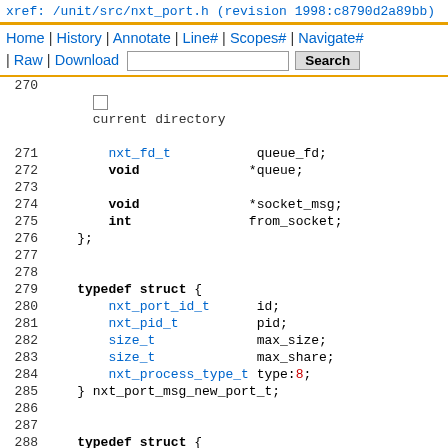xref: /unit/src/nxt_port.h (revision 1998:c8790d2a89bb)
Home | History | Annotate | Line# | Scopes# | Navigate# | Raw | Download   Search
[Figure (screenshot): Source code viewer showing C header file nxt_port.h lines 270-294 with struct typedef definitions]
270
271    nxt_fd_t       queue_fd;
272    void          *queue;
273
274    void          *socket_msg;
275    int            from_socket;
276  };
277
278
279  typedef struct {
280      nxt_port_id_t    id;
281      nxt_pid_t        pid;
282      size_t           max_size;
283      size_t           max_share;
284      nxt_process_type_t type:8;
285  } nxt_port_msg_new_port_t;
286
287
288  typedef struct {
289      nxt_port_id_t    id;
290      nxt_pid_t        pid;
291  } nxt_port_msg_get_port_t;
292
293
294  typedef struct {